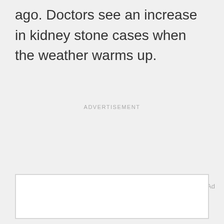ago. Doctors see an increase in kidney stone cases when the weather warms up.
ADVERTISEMENT
Ad
[Figure (other): Empty advertisement box with thin border]